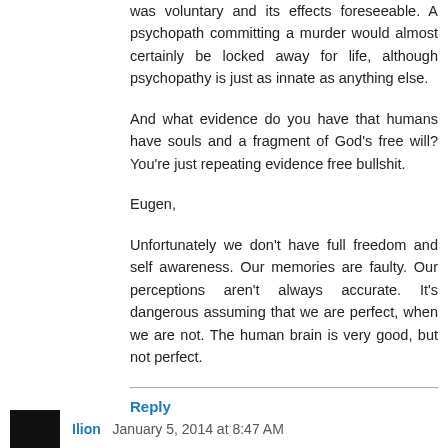was voluntary and its effects foreseeable. A psychopath committing a murder would almost certainly be locked away for life, although psychopathy is just as innate as anything else.
And what evidence do you have that humans have souls and a fragment of God's free will? You're just repeating evidence free bullshit.
Eugen,
Unfortunately we don't have full freedom and self awareness. Our memories are faulty. Our perceptions aren't always accurate. It's dangerous assuming that we are perfect, when we are not. The human brain is very good, but not perfect.
Reply
Ilion  January 5, 2014 at 8:47 AM